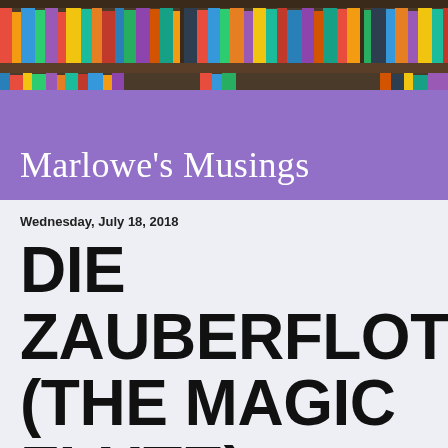[Figure (photo): Bookshelf banner photo showing colorful books on shelves, used as page header background]
Marlowe's Musings
Wednesday, July 18, 2018
DIE ZAUBERFLOTE (THE MAGIC FLUTE)